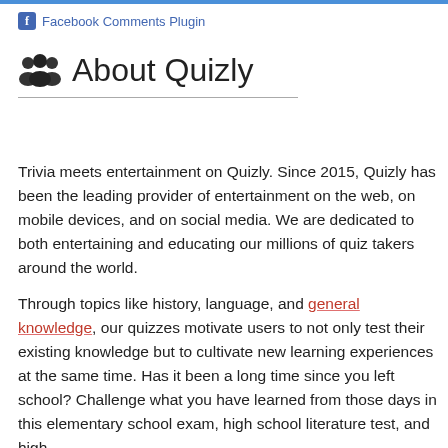Facebook Comments Plugin
About Quizly
Trivia meets entertainment on Quizly. Since 2015, Quizly has been the leading provider of entertainment on the web, on mobile devices, and on social media. We are dedicated to both entertaining and educating our millions of quiz takers around the world.
Through topics like history, language, and general knowledge, our quizzes motivate users to not only test their existing knowledge but to cultivate new learning experiences at the same time. Has it been a long time since you left school? Challenge what you have learned from those days in this elementary school exam, high school literature test, and high